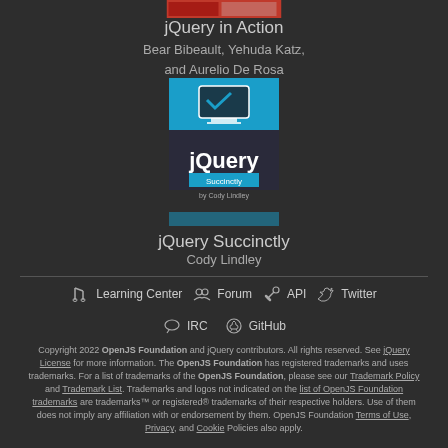[Figure (illustration): Book cover for jQuery in Action (partially visible at top)]
jQuery in Action
Bear Bibeault, Yehuda Katz,
and Aurelio De Rosa
[Figure (illustration): Book cover for jQuery Succinctly by Cody Lindley - blue cover with monitor icon]
jQuery Succinctly
Cody Lindley
Learning Center
Forum
API
Twitter
IRC
GitHub
Copyright 2022 OpenJS Foundation and jQuery contributors. All rights reserved. See jQuery License for more information. The OpenJS Foundation has registered trademarks and uses trademarks. For a list of trademarks of the OpenJS Foundation, please see our Trademark Policy and Trademark List. Trademarks and logos not indicated on the list of OpenJS Foundation trademarks are trademarks™ or registered® trademarks of their respective holders. Use of them does not imply any affiliation with or endorsement by them. OpenJS Foundation Terms of Use, Privacy, and Cookie Policies also apply.